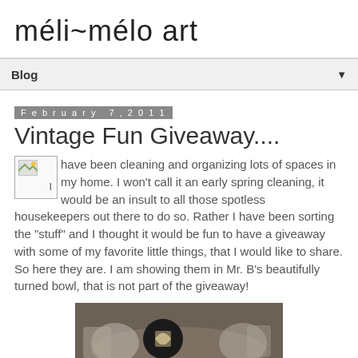méli~mélo art
Blog
February 7, 2011
Vintage Fun Giveaway....
I have been cleaning and organizing lots of spaces in my home. I won't call it an early spring cleaning, it would be an insult to all those spotless housekeepers out there to do so. Rather I have been sorting the "stuff" and I thought it would be fun to have a giveaway with some of my favorite little things, that I would like to share. So here they are. I am showing them in Mr. B's beautifully turned bowl, that is not part of the giveaway!
[Figure (photo): Photo of vintage items in a bowl]